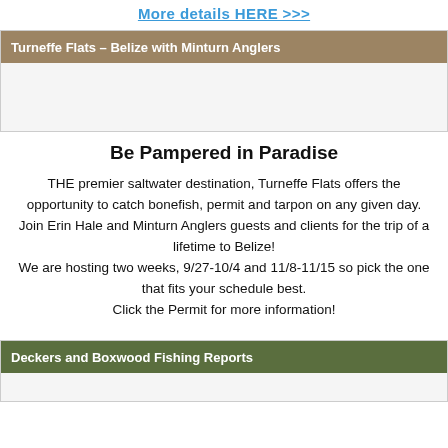More details HERE >>>
Turneffe Flats – Belize with Minturn Anglers
[Figure (photo): Image placeholder for Turneffe Flats / Belize with Minturn Anglers section]
Be Pampered in Paradise
THE premier saltwater destination, Turneffe Flats offers the opportunity to catch bonefish, permit and tarpon on any given day. Join Erin Hale and Minturn Anglers guests and clients for the trip of a lifetime to Belize! We are hosting two weeks, 9/27-10/4 and 11/8-11/15 so pick the one that fits your schedule best. Click the Permit for more information!
Deckers and Boxwood Fishing Reports
[Figure (photo): Image placeholder for Deckers and Boxwood Fishing Reports section]